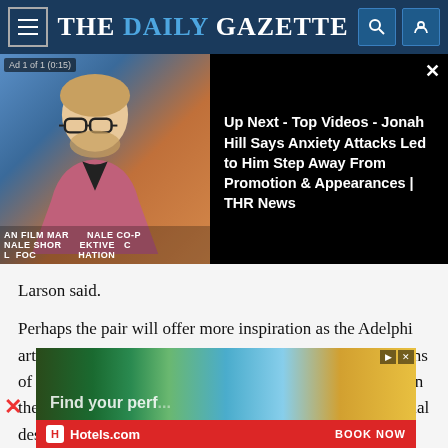THE DAILY GAZETTE
[Figure (screenshot): Video overlay showing Jonah Hill at a film event with black right panel showing video title text]
Up Next - Top Videos - Jonah Hill Says Anxiety Attacks Led to Him Step Away From Promotion & Appearances | THR News
Larson said.
Perhaps the pair will offer more inspiration as the Adelphi artists begin to stray into creating modern wallpaper designs of their own. They have a few designs currently hanging on the walls, but Larson said they might be doing more original design work depending on the number
[Figure (screenshot): Hotels.com advertisement banner showing beach/vacation scene with 'Find your perf...' text, Hotels.com logo and BOOK NOW button]